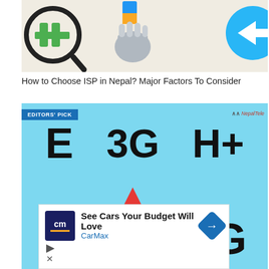[Figure (illustration): Partial infographic showing a magnifying glass with green phone icon, a hand holding a card, and a blue circle with arrow, on beige background]
How to Choose ISP in Nepal? Major Factors To Consider
[Figure (infographic): Infographic on light blue background showing mobile network indicators: E, 3G, H+, G, signal bars icon, 4G. Tagged with 'EDITORS' PICK' badge and Nepal Telecom logo.]
[Figure (other): Advertisement banner: 'See Cars Your Budget Will Love' by CarMax with CarMax logo and navigation arrow icon. Contains play and close controls.]